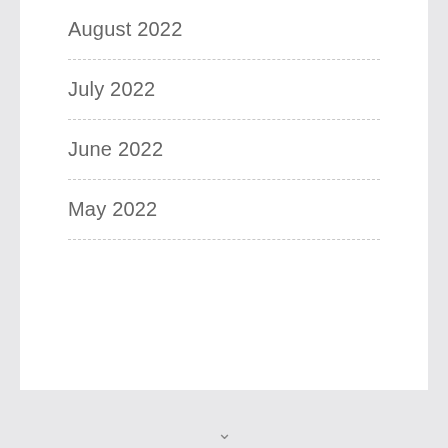August 2022
July 2022
June 2022
May 2022